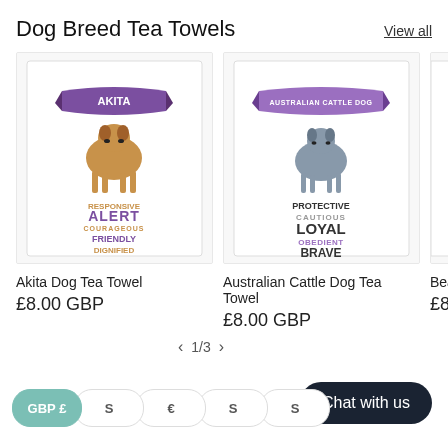Dog Breed Tea Towels
View all
[Figure (photo): Akita Dog Tea Towel product image — white tea towel with purple banner reading AKITA, illustration of Akita dog, and words RESPONSIVE, ALERT, COURAGEOUS, FRIENDLY, DIGNIFIED in mixed orange and purple typography]
[Figure (photo): Australian Cattle Dog Tea Towel product image — white tea towel with purple banner reading AUSTRALIAN CATTLE DOG, illustration of Cattle Dog, and words PROTECTIVE, CAUTIOUS, LOYAL, OBEDIENT, BRAVE in mixed typography]
[Figure (photo): Bearded (partial) — third product card partially visible]
Akita Dog Tea Towel
£8.00 GBP
Australian Cattle Dog Tea Towel
£8.00 GBP
Bearded
£8.00
1/3
GBP £
Chat with us